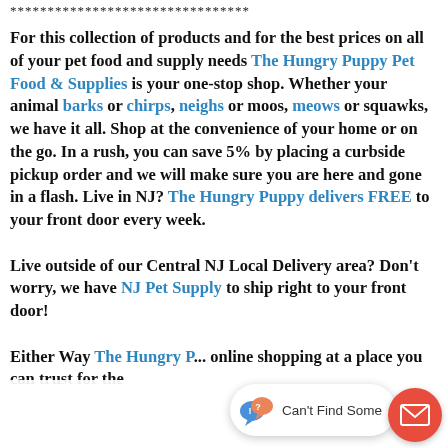********************************
For this collection of products and for the best prices on all of your pet food and supply needs The Hungry Puppy Pet Food & Supplies is your one-stop shop. Whether your animal barks or chirps, neighs or moos, meows or squawks, we have it all. Shop at the convenience of your home or on the go. In a rush, you can save 5% by placing a curbside pickup order and we will make sure you are here and gone in a flash. Live in NJ? The Hungry Puppy delivers FREE to your front door every week.

Live outside of our Central NJ Local Delivery area? Don't worry, we have NJ Pet Supply to ship right to your front door!

Either Way The Hungry P... online shopping at a place you can trust for the
[Figure (infographic): Chat widget overlay showing speech bubble icons and text 'Can't Find Some...' with a red circular mail/envelope button on the right]